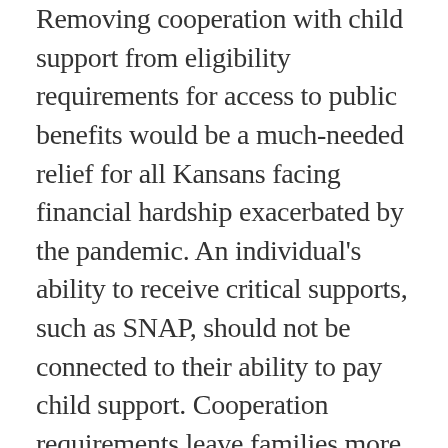Removing cooperation with child support from eligibility requirements for access to public benefits would be a much-needed relief for all Kansans facing financial hardship exacerbated by the pandemic. An individual's ability to receive critical supports, such as SNAP, should not be connected to their ability to pay child support. Cooperation requirements leave families more vulnerable and threaten children's lives as well as custodial and non-custodial parents' well-being. The bill moves to the House floor this week, and it is expected to garner significant opposition.